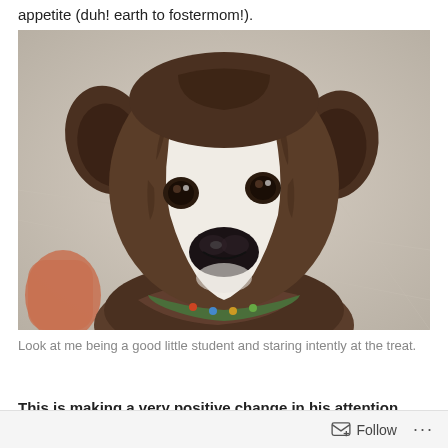appetite (duh! earth to fostermom!).
[Figure (photo): Close-up portrait of a brindle and white dog with floppy ears looking up at the camera, wearing a colorful collar. The background is blurred and light-colored. A person's hand is partially visible at the lower left.]
Look at me being a good little student and staring intently at the treat.
This is making a very positive change in his attention
Follow ...